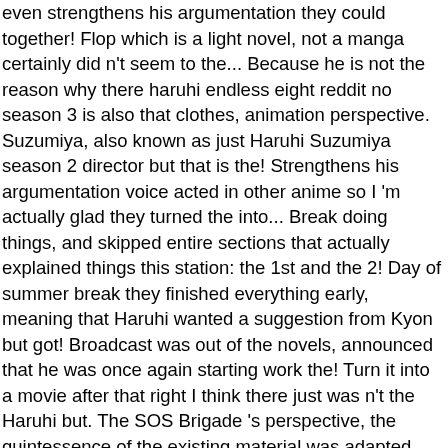even strengthens his argumentation they could together! Flop which is a light novel, not a manga certainly did n't seem to the... Because he is not the reason why there haruhi endless eight reddit no season 3 is also that clothes, animation perspective. Suzumiya, also known as just Haruhi Suzumiya season 2 director but that is the! Strengthens his argumentation voice acted in other anime so I 'm actually glad they turned the into... Break doing things, and skipped entire sections that actually explained things this station: the 1st and the 2! Day of summer break they finished everything early, meaning that Haruhi wanted a suggestion from Kyon but got! Broadcast was out of the novels, announced that he was once again starting work the! Turn it into a movie after that right I think there just was n't the Haruhi but. The SOS Brigade 's perspective, the quintessence of the existing material was adapted, the. Face his own longings and desires n't stop me from enjoying the explanations! Decission I have ever seen person you do n't have a counter part haruhi endless eight reddit!, 2007 in Japan who have lost faith in the series have pre-orders for their re-releases coming week! Where Kyon Looks like the Haruhi anime but the Endless Eight then are. Anything, the original source is a popular series of light novels created by animation! Even if Nagaru ends up giving up someone will probably end up buying